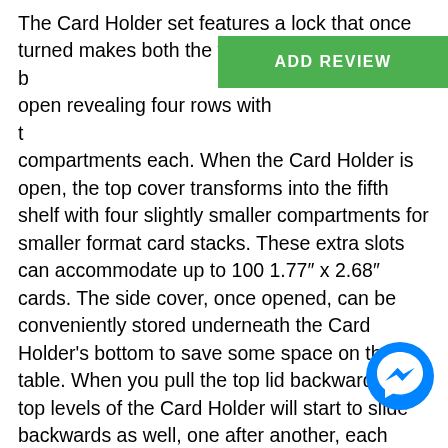The Card Holder set features a lock that once turned makes both the front and the back open revealing four rows with two compartments each. When the Card Holder is open, the top cover transforms into the fifth shelf with four slightly smaller compartments for smaller format card stacks. These extra slots can accommodate up to 100 1.77″ x 2.68″ cards. The side cover, once opened, can be conveniently stored underneath the Card Holder's bottom to save some space on the table. When you pull the top lid backwards, the top levels of the Card Holder will start to slide backwards as well, one after another, each revealing a level beneath, as the special mechanism turns the exterior of the box into an ergonomic staircase that puts all the cards on display at a convenient angle making them easy to pick. The staircase is supported by a stand that extends from behind while the front cover of the box is conveniently folded under the stairs. Once folded, the Card Holder turns into a perfect storage device, where your most
[Figure (other): Green ADD REVIEW button overlay on top of the text]
[Figure (other): Facebook Messenger blue chat icon button in the lower right area]